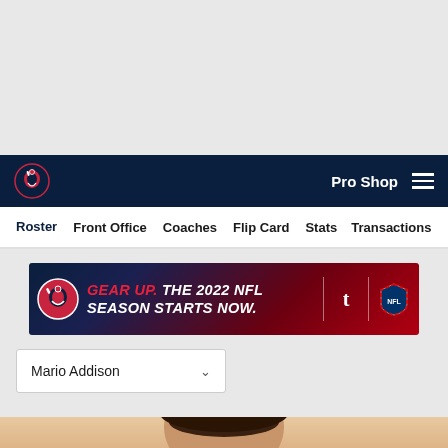[Figure (screenshot): Gray empty space at top of webpage]
Pro Shop  ☰
Roster  Front Office  Coaches  Flip Card  Stats  Transactions
[Figure (infographic): Ad banner: GEAR UP. THE 2022 NFL SEASON STARTS NOW. with Texans logo and NFL logo]
Mario Addison
[Figure (photo): Partial player headshot photo at bottom]